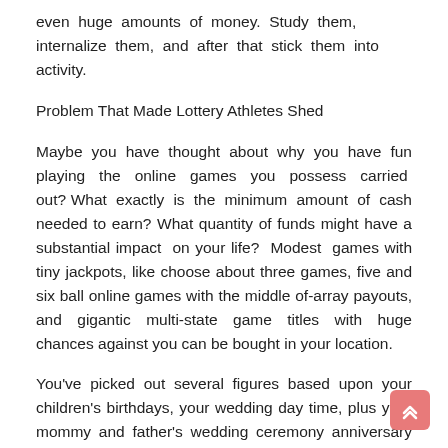even huge amounts of money. Study them, internalize them, and after that stick them into activity.
Problem That Made Lottery Athletes Shed
Maybe you have thought about why you have fun playing the online games you possess carried out? What exactly is the minimum amount of cash needed to earn? What quantity of funds might have a substantial impact on your life? Modest games with tiny jackpots, like choose about three games, five and six ball online games with the middle of-array payouts, and gigantic multi-state game titles with huge chances against you can be bought in your location.
You've picked out several figures based upon your children's birthdays, your wedding day time, plus your mommy and father's wedding ceremony anniversary day. Whenever you select lottery phone numbers based on significant times, you might be limited by the volume of days in the four weeks. Put simply, it is